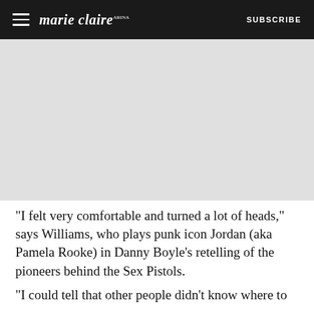marie claire SUBSCRIBE
[Figure (photo): Advertisement or image placeholder area below the navigation header]
“I felt very comfortable and turned a lot of heads,” says Williams, who plays punk icon Jordan (aka Pamela Rooke) in Danny Boyle’s retelling of the pioneers behind the Sex Pistols.
“I could tell that other people didn’t know where to